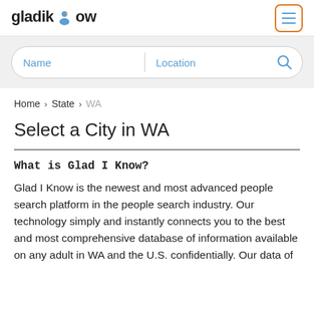gladiknow
Name | Location (search bar)
Home > State > WA
Select a City in WA
What is Glad I Know?
Glad I Know is the newest and most advanced people search platform in the people search industry. Our technology simply and instantly connects you to the best and most comprehensive database of information available on any adult in WA and the U.S. confidentially. Our data of